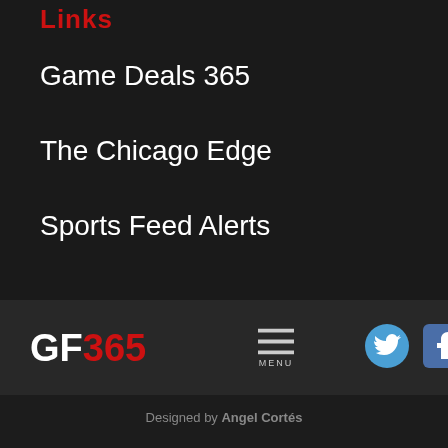Links
Game Deals 365
The Chicago Edge
…
[Figure (logo): GF365 logo with navigation bar containing menu icon, Twitter bird icon, and Facebook icon]
Designed by Angel Cortés
OpenCritic
Privacy Policy